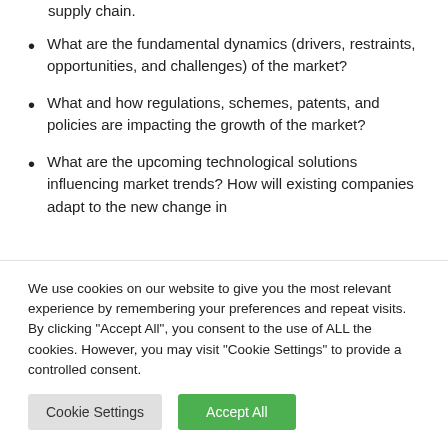What are the fundamental dynamics (drivers, restraints, opportunities, and challenges) of the market?
What and how regulations, schemes, patents, and policies are impacting the growth of the market?
What are the upcoming technological solutions influencing market trends? How will existing companies adapt to the new change in
We use cookies on our website to give you the most relevant experience by remembering your preferences and repeat visits. By clicking "Accept All", you consent to the use of ALL the cookies. However, you may visit "Cookie Settings" to provide a controlled consent.